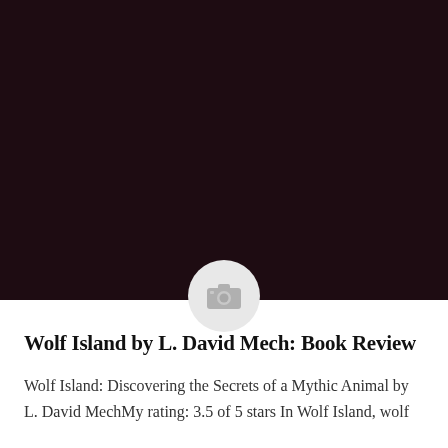[Figure (photo): Dark maroon/near-black image area filling the top portion of the page, with a light gray circular camera placeholder icon centered at the bottom edge of the image area]
Wolf Island by L. David Mech: Book Review
Wolf Island: Discovering the Secrets of a Mythic Animal by L. David MechMy rating: 3.5 of 5 stars In Wolf Island, wolf